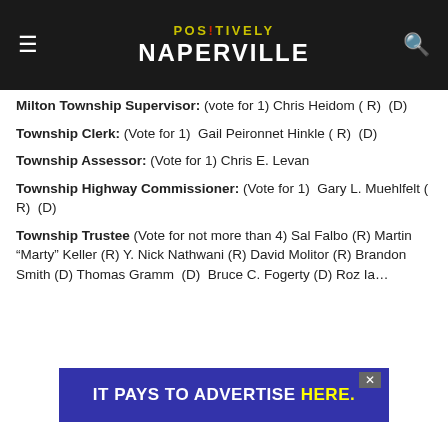POSITIVELY NAPERVILLE
Milton Township Supervisor: (Vote for 1) Chris Heidom ( R)  (D)
Township Clerk: (Vote for 1)  Gail Peironnet Hinkle ( R)  (D)
Township Assessor: (Vote for 1) Chris E. Levan
Township Highway Commissioner: (Vote for 1)  Gary L. Muehlfelt ( R)  (D)
Township Trustee (Vote for not more than 4) Sal Falbo (R)  Martin “Marty” Keller (R) Y. Nick Nathwani (R) David Molitor (R) Brandon Smith (D) Thomas Gramm  (D)  Bruce C. Fogerty (D) Roz Ia...
[Figure (infographic): Advertisement banner: IT PAYS TO ADVERTISE HERE. in blue/yellow on dark blue background with X close button]